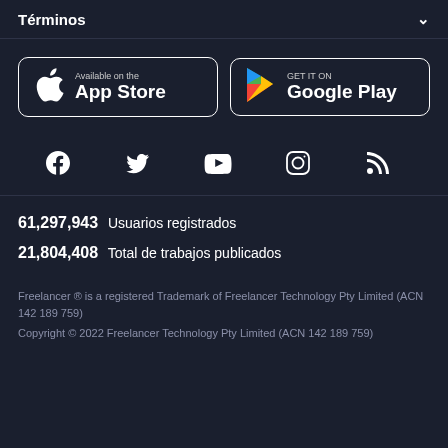Términos
[Figure (screenshot): App Store and Google Play download buttons]
[Figure (infographic): Social media icons: Facebook, Twitter, YouTube, Instagram, RSS]
61,297,943  Usuarios registrados
21,804,408  Total de trabajos publicados
Freelancer ® is a registered Trademark of Freelancer Technology Pty Limited (ACN 142 189 759)
Copyright © 2022 Freelancer Technology Pty Limited (ACN 142 189 759)